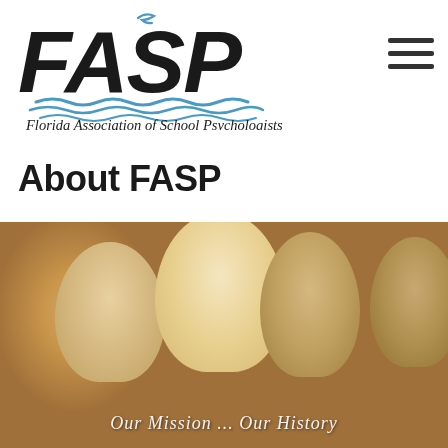[Figure (logo): FASP logo — stylized italic 'FASP' text with a seagull above and blue wave lines below, subtitle: Florida Association of School Psychologists]
About FASP
[Figure (photo): Group photo of smiling children of diverse ethnicities, with overlay text 'Our Mission... Our History']